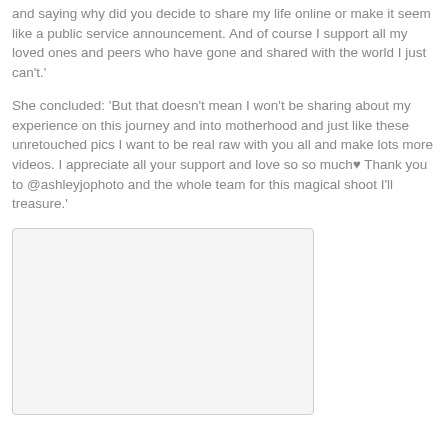and saying why did you decide to share my life online or make it seem like a public service announcement. And of course I support all my loved ones and peers who have gone and shared with the world I just can't.'
She concluded: 'But that doesn't mean I won't be sharing about my experience on this journey and into motherhood and just like these unretouched pics I want to be real raw with you all and make lots more videos. I appreciate all your support and love so so much♥ Thank you to @ashleyjophoto and the whole team for this magical shoot I'll treasure.'
[Figure (photo): A photo placeholder with light gray background and border, partially visible on the page]